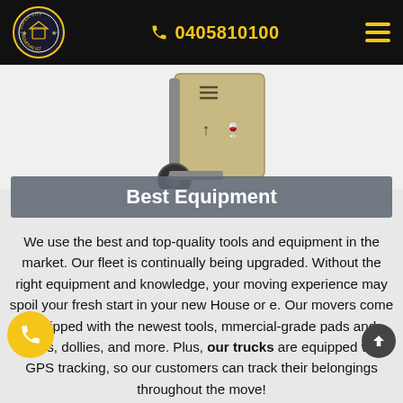0405810100
[Figure (illustration): Hand truck/dolly with a cardboard box on it, on white background]
Best Equipment
We use the best and top-quality tools and equipment in the market. Our fleet is continually being upgraded. Without the right equipment and knowledge, your moving experience may spoil your fresh start in your new House or e. Our movers come equipped with the newest tools, mmercial-grade pads and wraps, dollies, and more. Plus, our trucks are equipped with GPS tracking, so our customers can track their belongings throughout the move!